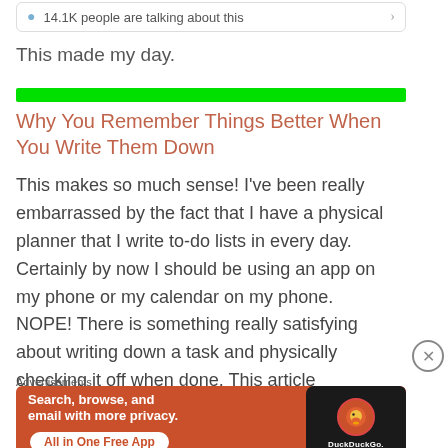[Figure (screenshot): Notification bar showing '14.1K people are talking about this' with a chat bubble icon and right arrow]
This made my day.
[Figure (other): Solid bright green horizontal bar]
Why You Remember Things Better When You Write Them Down
This makes so much sense! I've been really embarrassed by the fact that I have a physical planner that I write to-do lists in every day. Certainly by now I should be using an app on my phone or my calendar on my phone. NOPE! There is something really satisfying about writing down a task and physically checking it off when done. This article
Advertisements
[Figure (screenshot): DuckDuckGo advertisement banner: 'Search, browse, and email with more privacy. All in One Free App' on orange background with phone graphic and DuckDuckGo logo]